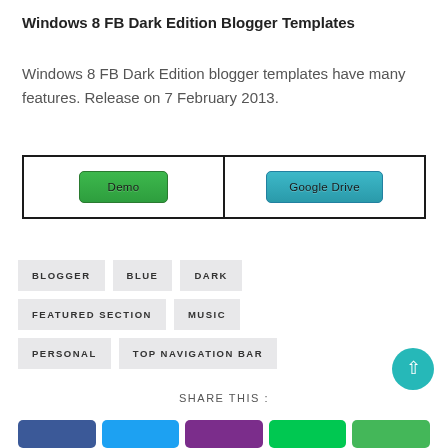Windows 8 FB Dark Edition Blogger Templates
Windows 8 FB Dark Edition blogger templates have many features. Release on 7 February 2013.
| Demo | Google Drive |
| --- | --- |
BLOGGER
BLUE
DARK
FEATURED SECTION
MUSIC
PERSONAL
TOP NAVIGATION BAR
SHARE THIS :